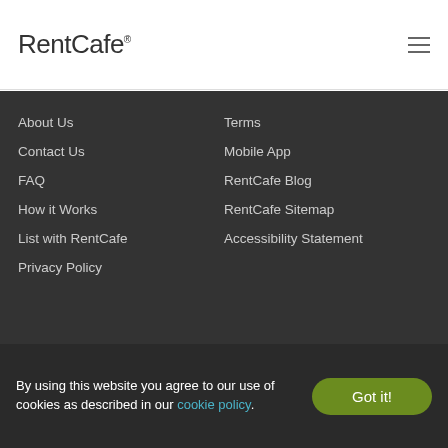RentCafe
About Us
Contact Us
FAQ
How it Works
List with RentCafe
Privacy Policy
Terms
Mobile App
RentCafe Blog
RentCafe Sitemap
Accessibility Statement
RentCafe Copyright
By using this website you agree to our use of cookies as described in our cookie policy.